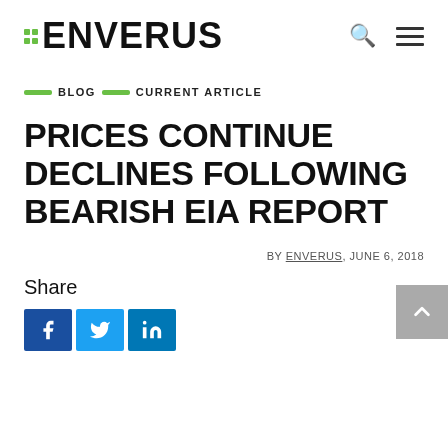ENVERUS
BLOG  CURRENT ARTICLE
PRICES CONTINUE DECLINES FOLLOWING BEARISH EIA REPORT
BY ENVERUS, JUNE 6, 2018
Share